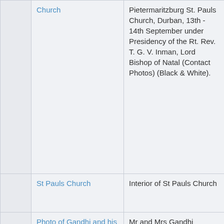|  | Title | Description |
| --- | --- | --- |
|  | Church | Pietermaritzburg St. Pauls Church, Durban, 13th - 14th September under Presidency of the Rt. Rev. T. G. V. Inman, Lord Bishop of Natal (Contact Photos) (Black & White). |
|  | St Pauls Church | Interior of St Pauls Church |
|  | Photo of Gandhi and his Wife Kasturba | Mr and Mrs Gandhi |
|  | Houses of Sierra Leone | Black and white abstract showing the houses of Sierra Leone. |
|  | Untitled | A mixed media scene of a church house and a mission, on a tarred road with mountains at the background. Type: Wire, sand, stones and frames. |